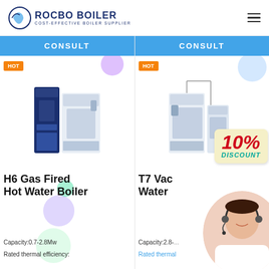ROCBO BOILER - COST-EFFECTIVE BOILER SUPPLIER
CONSULT
CONSULT
[Figure (photo): H6 Gas Fired Hot Water Boiler product image with HOT badge and CONSULT button]
H6 Gas Fired Hot Water Boiler
Capacity:0.7-2.8Mw
Rated thermal efficiency:
[Figure (photo): T7 Vacuum Hot Water Boiler product image with HOT badge, 10% DISCOUNT tag, CONSULT button, and customer service representative photo overlay]
T7 Vac Water
Capacity:2.8-...
Rated thermal